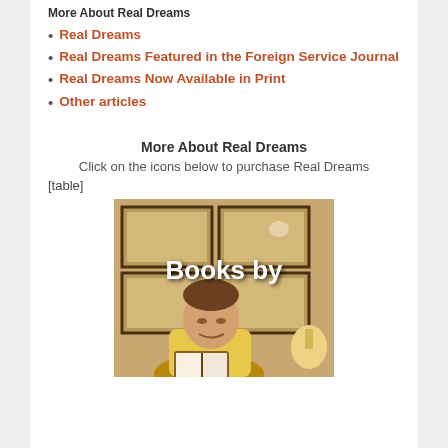More About Real Dreams
Real Dreams
Real Dreams Featured in the Foreign Service Journal
Real Dreams Now Available in Print
Other articles
More About Real Dreams
Click on the icons below to purchase Real Dreams
[table]
[Figure (photo): A man in a yellow shirt reading a book, seated in an office with framed documents on the wall and a lamp, with 'Books by' text overlay in white bold font]